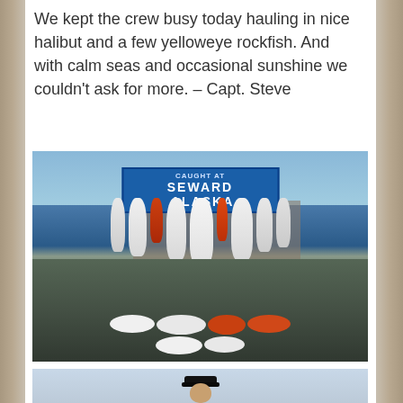We kept the crew busy today hauling in nice halibut and a few yelloweye rockfish. And with calm seas and occasional sunshine we couldn't ask for more. – Capt. Steve
[Figure (photo): Group photo of fishing crew at dock with caught halibut and yelloweye rockfish hanging on a rack. Blue sign reads 'CAUGHT AT SEWARD ALASKA'. Fish also displayed on ground in front of group. About 10 people posing.]
[Figure (photo): Person wearing a dark baseball cap, partial view from the top of the frame, sky background.]